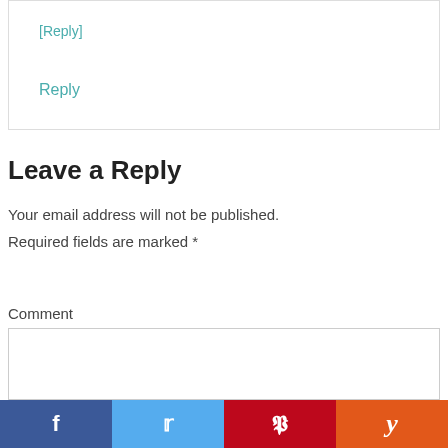[Reply]
Reply
Leave a Reply
Your email address will not be published. Required fields are marked *
Comment
[Figure (screenshot): Comment textarea input box (empty)]
[Figure (infographic): Social sharing bar with Facebook, Twitter, Pinterest, and Yummly buttons]